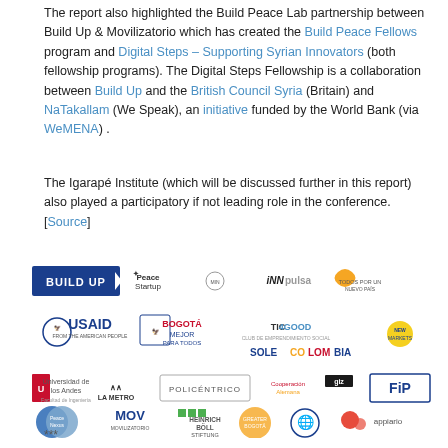The report also highlighted the Build Peace Lab partnership between Build Up & Movilizatorio which has created the Build Peace Fellows program and Digital Steps – Supporting Syrian Innovators (both fellowship programs). The Digital Steps Fellowship is a collaboration between Build Up and the British Council Syria (Britain) and NaTakallam (We Speak), an initiative funded by the World Bank (via WeMENA) .
The Igarapé Institute (which will be discussed further in this report) also played a participatory if not leading role in the conference. [Source]
[Figure (infographic): Grid of partner/sponsor logos including BUILD UP, Peace Startup, INNpulsa, USAID, Bogotá Mejor Para Todos, TIC4GOOD, SoleColombia, New Markets, Universidad de los Andes, La Metro, Policéntrico, Cooperación Alemana GIZ, FIP, PeaceNexus Foundation, MOV Movilizatorio, Heinrich Böll Stiftung Colombia, Greater Bogotá, UN, appiario]
***